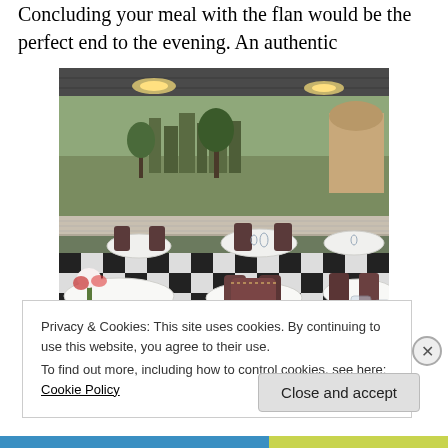Concluding your meal with the flan would be the perfect end to the evening.  An authentic
[Figure (photo): Interior of an elegant restaurant dining room with dark wooden chairs with leather upholstery, white tablecloths, black and white checkered floor, and a mural of a European landscape painted on the wall behind the tables. Chandeliers hang from the ceiling. Tables are set with glassware. A floral centerpiece is visible in the foreground.]
Privacy & Cookies: This site uses cookies. By continuing to use this website, you agree to their use.
To find out more, including how to control cookies, see here: Cookie Policy